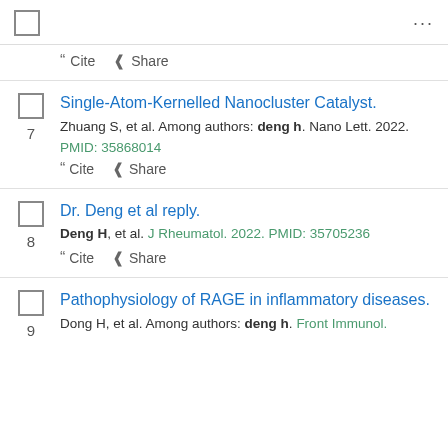Cite  Share
Single-Atom-Kernelled Nanocluster Catalyst. Zhuang S, et al. Among authors: deng h. Nano Lett. 2022. PMID: 35868014 — 7 — Cite  Share
Dr. Deng et al reply. Deng H, et al. J Rheumatol. 2022. PMID: 35705236 — 8 — Cite  Share
Pathophysiology of RAGE in inflammatory diseases. Dong H, et al. Among authors: deng h. Front Immunol. — 9